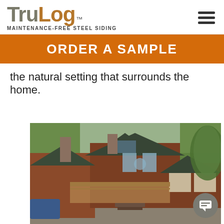[Figure (logo): TruLog Maintenance-Free Steel Siding logo with hamburger menu icon]
ORDER A SAMPLE
the natural setting that surrounds the home.
[Figure (photo): A log-style home with brown steel siding, green roof, front porch with wood railing, two-car garage, surrounded by green trees]